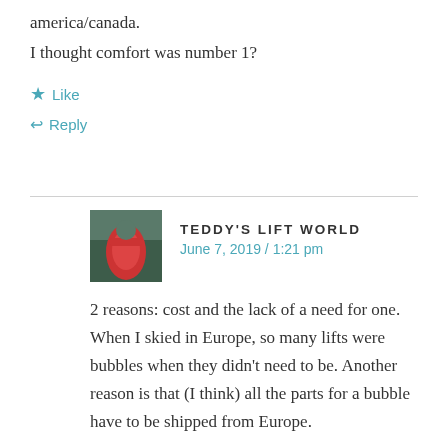america/canada.
I thought comfort was number 1?
Like
Reply
TEDDY'S LIFT WORLD
June 7, 2019 / 1:21 pm
2 reasons: cost and the lack of a need for one. When I skied in Europe, so many lifts were bubbles when they didn't need to be. Another reason is that (I think) all the parts for a bubble have to be shipped from Europe.
Like
Reply